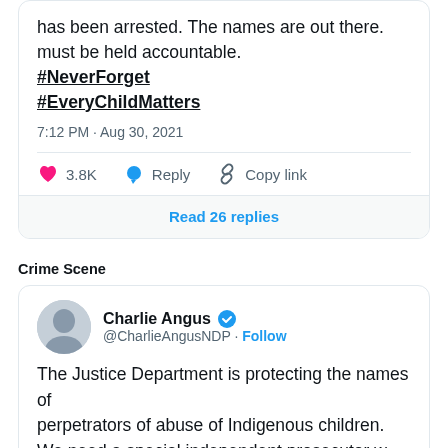has been arrested. The names are out there. must be held accountable. #NeverForget #EveryChildMatters
7:12 PM · Aug 30, 2021
3.8K  Reply  Copy link
Read 26 replies
Crime Scene
Charlie Angus @CharlieAngusNDP · Follow
The Justice Department is protecting the names of perpetrators of abuse of Indigenous children. We need a special independent prosecutor w the government and church to turn over the d